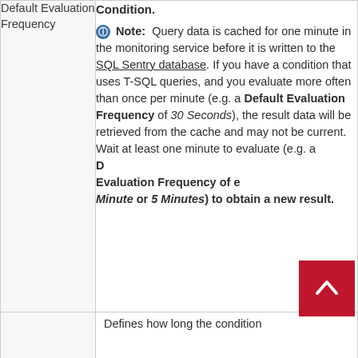|  |  |
| --- | --- |
| Default Evaluation Frequency | Condition.

[Note icon] Note: Query data is cached for one minute in the monitoring service before it is written to the SQL Sentry database. If you have a condition that uses T-SQL queries, and you evaluate more often than once per minute (e.g. a Default Evaluation Frequency of 30 Seconds), the result data will be retrieved from the cache and may not be current. Wait at least one minute to evaluate (e.g. a Default Evaluation Frequency of either 1 Minute or 5 Minutes) to obtain a new result. |
|  | Defines how long the condition |